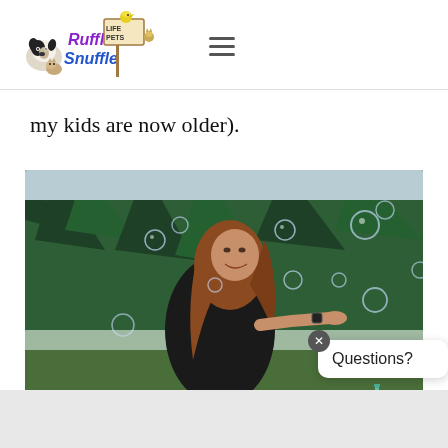Ruffle Snuffle - Life with Pets logo and navigation
my kids are now older).
[Figure (photo): A woman in a black t-shirt stands outdoors with trees in the background, smiling and holding her hand out with soap bubbles floating around her.]
[Figure (other): Chat widget with 'Questions?' text bubble and a teal robot mascot icon, with an X close button.]